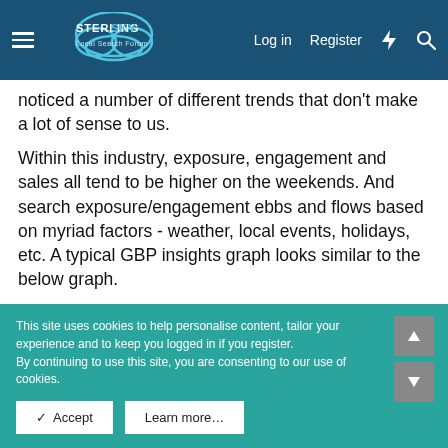Sterling Sky Local Search Forum — Log in | Register
noticed a number of different trends that don't make a lot of sense to us.
Within this industry, exposure, engagement and sales all tend to be higher on the weekends. And search exposure/engagement ebbs and flows based on myriad factors - weather, local events, holidays, etc. A typical GBP insights graph looks similar to the below graph.
[Figure (screenshot): Google Business Profile insights screenshot showing 'Where customers view your business on Google' with subtitle 'The Google services that customers use to find your business', 1 quarter filter, Total views 115K, y-axis label 3,000, and a bar chart with orange bars, legend showing 'Listing on Search 45.8K']
This site uses cookies to help personalise content, tailor your experience and to keep you logged in if you register. By continuing to use this site, you are consenting to our use of cookies.